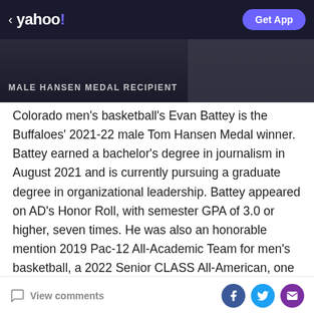< yahoo!   Get App
[Figure (photo): Dark banner image with text 'MALE HANSEN MEDAL RECIPIENT' overlaid, showing a sports/award ceremony scene]
Colorado men's basketball's Evan Battey is the Buffaloes' 2021-22 male Tom Hansen Medal winner. Battey earned a bachelor's degree in journalism in August 2021 and is currently pursuing a graduate degree in organizational leadership. Battey appeared on AD's Honor Roll, with semester GPA of 3.0 or higher, seven times. He was also an honorable mention 2019 Pac-12 All-Academic Team for men's basketball, a 2022 Senior CLASS All-American, one of four recipients of 2022 CU Male Career Athletic Achievement Award, one of two inaugural recipients of
View comments  [Facebook] [Twitter] [Mail]